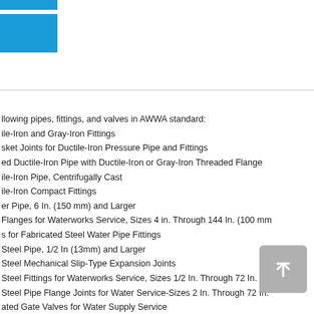[Figure (other): Blue decorative bar top]
[Figure (other): Blue decorative bar left]
llowing pipes, fittings, and valves in AWWA standard:
ile-Iron and Gray-Iron Fittings
sket Joints for Ductile-Iron Pressure Pipe and Fittings
ed Ductile-Iron Pipe with Ductile-Iron or Gray-Iron Threaded Flange
ile-Iron Pipe, Centrifugally Cast
ile-Iron Compact Fittings
er Pipe, 6 In. (150 mm) and Larger
Flanges for Waterworks Service, Sizes 4 in. Through 144 In. (100 mm
s for Fabricated Steel Water Pipe Fittings
Steel Pipe, 1/2 In (13mm) and Larger
Steel Mechanical Slip-Type Expansion Joints
Steel Fittings for Waterworks Service, Sizes 1/2 In. Through 72 In. (
Steel Pipe Flange Joints for Water Service-Sizes 2 In. Through 72 In.
ated Gate Valves for Water Supply Service
ealed Butterfly Valves